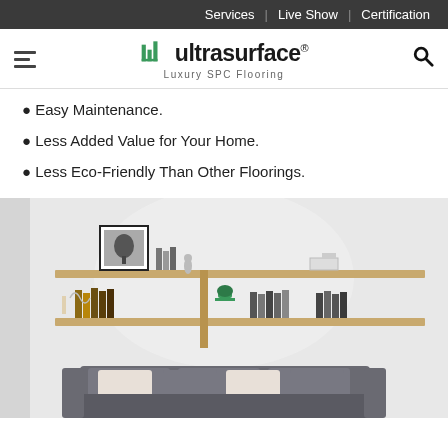Services | Live Show | Certification
[Figure (logo): Ultrasurface Luxury SPC Flooring logo with hamburger menu and search icon]
Easy Maintenance.
Less Added Value for Your Home.
Less Eco-Friendly Than Other Floorings.
[Figure (photo): Interior photo of a living room with wooden wall-mounted shelves holding books and decorative items, and a grey sofa with light cushions below]